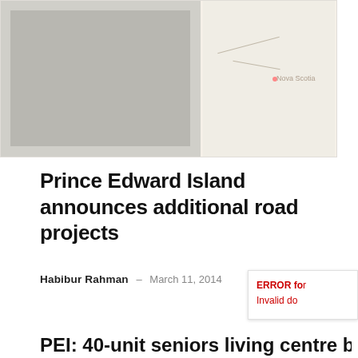[Figure (map): A map image showing a geographic region, appears to be a map of eastern Canada/Maritime provinces area with road lines and a location marker.]
Prince Edward Island announces additional road projects
Habibur Rahman — March 11, 2014
ERROR for: Invalid do
PEI: 40-unit seniors living centre being built